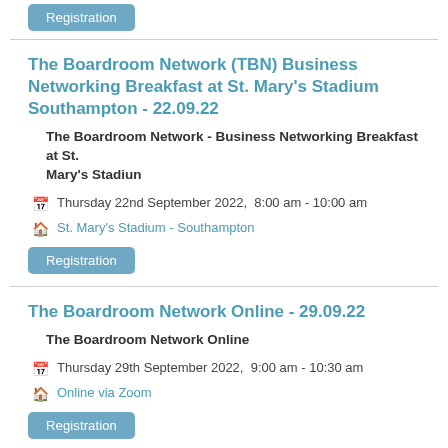Registration (button, top)
The Boardroom Network (TBN) Business Networking Breakfast at St. Mary's Stadium Southampton - 22.09.22
The Boardroom Network - Business Networking Breakfast at St. Mary's Stadiun
Thursday 22nd September 2022,  8:00 am - 10:00 am
St. Mary's Stadium - Southampton
Registration (button)
The Boardroom Network Online - 29.09.22
The Boardroom Network Online
Thursday 29th September 2022,  9:00 am - 10:30 am
Online via Zoom
Registration (button)
The Boardroom Network Online - 13.10.22